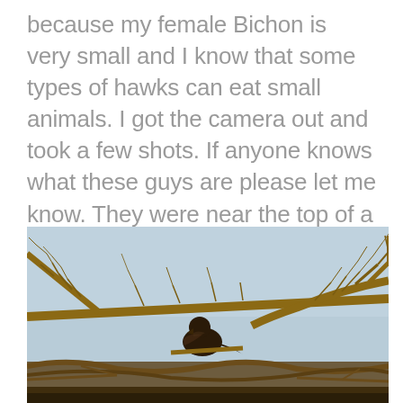because my female Bichon is very small and I know that some types of hawks can eat small animals. I got the camera out and took a few shots. If anyone knows what these guys are please let me know. They were near the top of a huge tree, this is the closest I could get with telephoto lenses that came with my camera.
[Figure (photo): A hawk or large bird of prey perched among bare tree branches against a light blue sky. The bird is brown and dark, sitting near the top of a large leafless tree, photographed with a telephoto lens.]